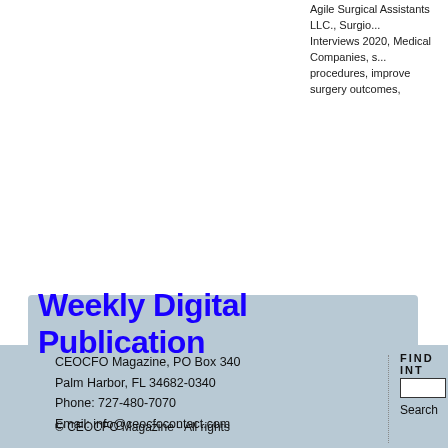Agile Surgical Assistants LLC., Surgi... Interviews 2020, Medical Companies, s... procedures, improve surgery outcomes,
Weekly Digital Publication
CEOCFO Magazine, PO Box 340
Palm Harbor, FL 34682-0340
Phone: 727-480-7070

Email: info@ceocfocontact.com
FIND INT
Search
© CEOCFO Magazine - All rights